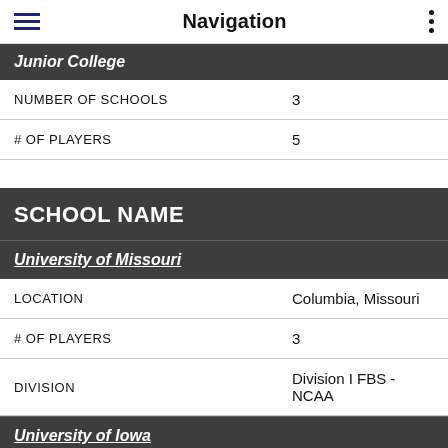Navigation
Junior College
| NUMBER OF SCHOOLS | 3 |
| # OF PLAYERS | 5 |
SCHOOL NAME
University of Missouri
| LOCATION | Columbia, Missouri |
| # OF PLAYERS | 3 |
| DIVISION | Division I FBS - NCAA |
University of Iowa